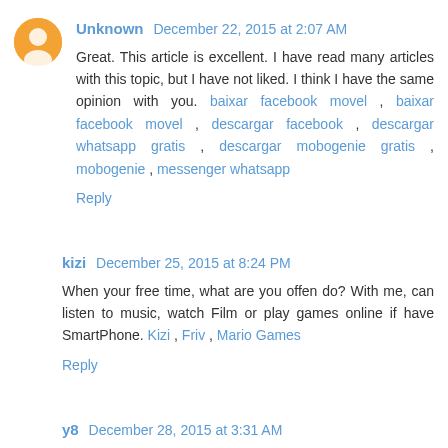Unknown December 22, 2015 at 2:07 AM
Great. This article is excellent. I have read many articles with this topic, but I have not liked. I think I have the same opinion with you. baixar facebook movel , baixar facebook movel , descargar facebook , descargar whatsapp gratis , descargar mobogenie gratis , mobogenie , messenger whatsapp
Reply
kizi December 25, 2015 at 8:24 PM
When your free time, what are you offen do? With me, can listen to music, watch Film or play games online if have SmartPhone. Kizi , Friv , Mario Games
Reply
y8 December 28, 2015 at 3:31 AM
New experience for each of your emotions. Thrilling